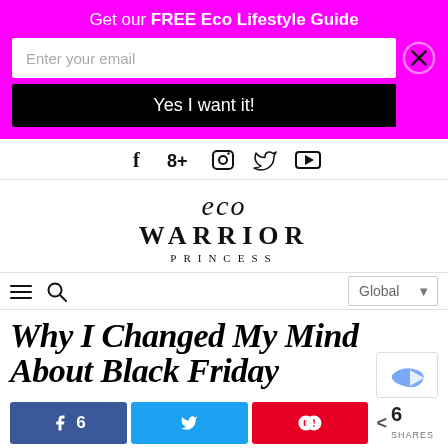Get our FREE Eco Lifestyle Guide
Enter your email
Yes I want it!
[Figure (infographic): Social media icons row: Facebook, Google+, Instagram, Twitter, YouTube]
[Figure (logo): Eco Warrior Princess logo in serif font]
Global (dropdown)
Why I Changed My Mind About Black Friday
6 SHARES with Facebook, Twitter, Pinterest share buttons